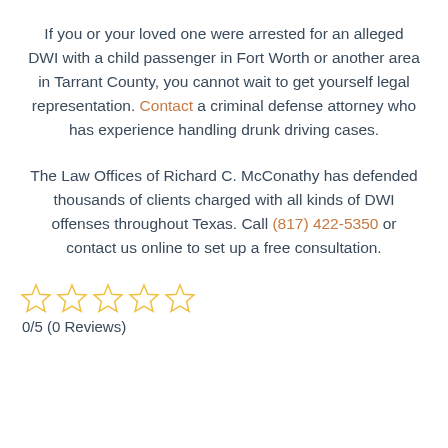If you or your loved one were arrested for an alleged DWI with a child passenger in Fort Worth or another area in Tarrant County, you cannot wait to get yourself legal representation. Contact a criminal defense attorney who has experience handling drunk driving cases.
The Law Offices of Richard C. McConathy has defended thousands of clients charged with all kinds of DWI offenses throughout Texas. Call (817) 422-5350 or contact us online to set up a free consultation.
[Figure (other): Five empty star rating icons (0/5)]
0/5 (0 Reviews)